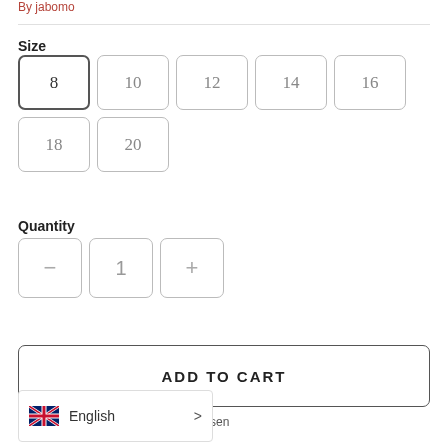By jabomo
Size
8  10  12  14  16  18  20
Quantity
— 1 +
ADD TO CART
Photo 2 Choose File No file chosen
English >